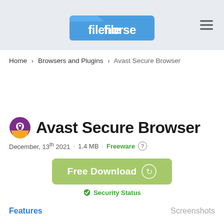[Figure (logo): Filehorse website logo - blue folder shape with 'filehorse' text in white]
Home > Browsers and Plugins > Avast Secure Browser
Avast Secure Browser
December, 13th 2021  ·  1.4 MB  ·  Freeware
[Figure (other): Green Free Download button with circular arrow icon]
Security Status
Features    Screenshots